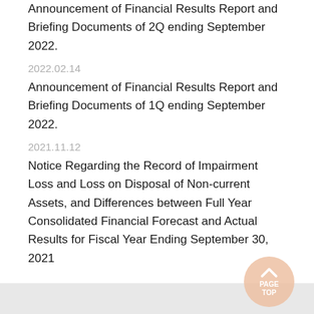Announcement of Financial Results Report and Briefing Documents of 2Q ending September 2022.
2022.02.14
Announcement of Financial Results Report and Briefing Documents of 1Q ending September 2022.
2021.11.12
Notice Regarding the Record of Impairment Loss and Loss on Disposal of Non-current Assets, and Differences between Full Year Consolidated Financial Forecast and Actual Results for Fiscal Year Ending September 30, 2021
[Figure (other): Page Top navigation button — a circular peach/salmon colored button with an upward chevron arrow and text PAGE TOP]